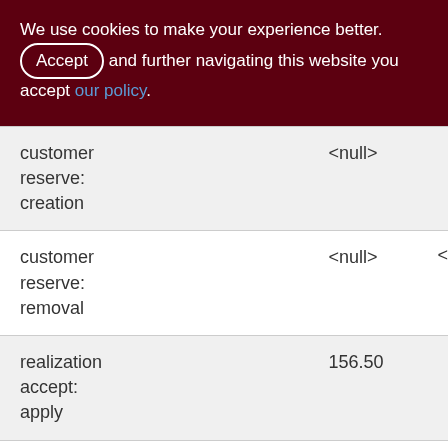We use cookies to make your experience better. By accepting and further navigating this website you accept our policy.
| customer reserve: creation | <null> |  |
| customer reserve: removal | <null> | < |
| realization accept: apply | 156.50 |  |
| realization accept: cancel | <null> | < |